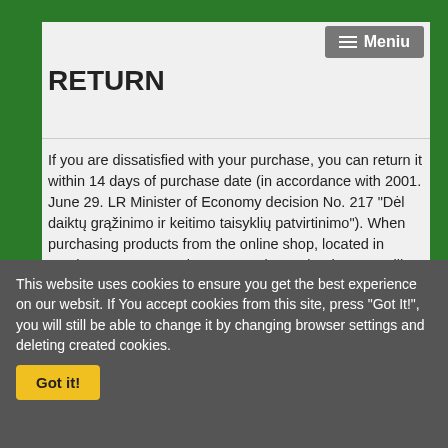RETURN
If you are dissatisfied with your purchase, you can return it within 14 days of purchase date (in accordance with 2001. June 29. LR Minister of Economy decision No. 217 "Dėl daiktų grąžinimo ir keitimo taisyklių patvirtinimo"). When purchasing products from the online shop, located in another European Union country, it may be that you will have to pay the cost of return and wait abit longer until your money will be refunded. The customer is responsible for return freight and will not be refunded original outgoing freight charges unless item is defective or damaged during original outgoing shipment.
Returned item(s) must be fully completed, in the package in which it was delivered. Package must be undamaged, clean, properly prepared.
Moneys for good quality products delivery are not returned.
NOTE: Customer does not have the right change His mind and cancel order,
This website uses cookies to ensure you get the best experience on our websit. If You accept cookies from this site, press "Got It!", you will still be able to change it by changing browser settings and deleting created cookies.